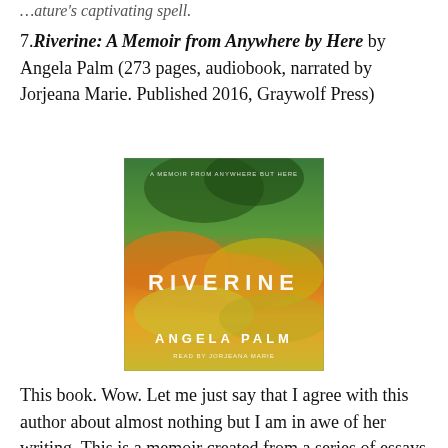…ature's captivating spell.
7. Riverine: A Memoir from Anywhere by Here by Angela Palm (273 pages, audiobook, narrated by Jorjeana Marie. Published 2016, Graywolf Press)
[Figure (photo): Book cover of 'Riverine: A Memoir from Anywhere by Here' by Angela Palm, published by Graywolf Press, narrated by Jorjeana Marie. The cover shows a watercolor-style image with green, orange, and yellow hues resembling a river or landscape. The title 'RIVERINE' appears in large letters across the middle, with 'ANGELA PALM' at the bottom and 'READ BY JORJEANA MARIE' below that.]
This book. Wow. Let me just say that I agree with this author about almost nothing but I am in awe of her writing. This is a memoir created from a series of essays threaded